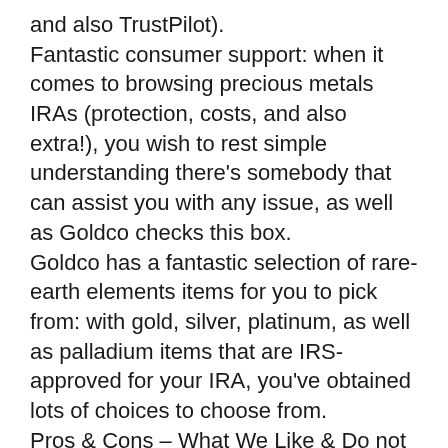and also TrustPilot).
Fantastic consumer support: when it comes to browsing precious metals IRAs (protection, costs, and also extra!), you wish to rest simple understanding there’s somebody that can assist you with any issue, as well as Goldco checks this box.
Goldco has a fantastic selection of rare-earth elements items for you to pick from: with gold, silver, platinum, as well as palladium items that are IRS-approved for your IRA, you’ve obtained lots of choices to choose from.
Pros & Cons – What We Like & Do not Like Regarding Goldco Priceless Metals.
Goldco is just one of those firms that’s very easy to support. If you run an online search,